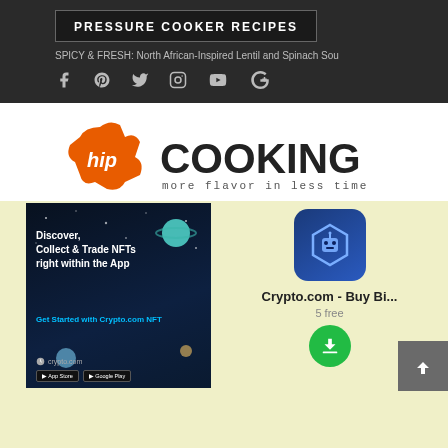PRESSURE COOKER RECIPES
SPICY & FRESH: North African-Inspired Lentil and Spinach Sou
[Figure (logo): Social media icons: Facebook, Pinterest, Twitter, Instagram, YouTube, Google+]
[Figure (logo): Hip Cooking logo with orange stylized 'hip' text and 'COOKING' in black bold, tagline: more flavor in less time]
[Figure (infographic): Crypto.com NFT advertisement: Discover, Collect & Trade NFTs right within the App. Get Started with Crypto.com NFT. Dark blue background with planets/stars.]
[Figure (logo): Crypto.com app icon - blue shield/hexagon with robot/helmet symbol]
Crypto.com - Buy Bi...
5 free
[Figure (other): Green circular download button with down arrow]